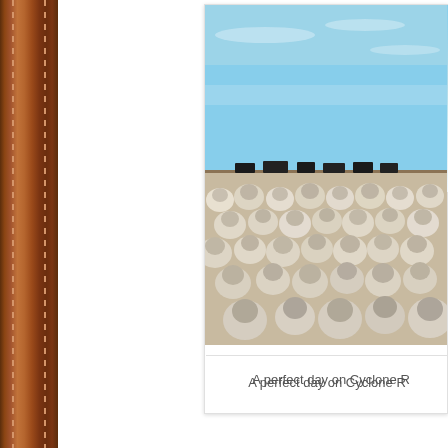[Figure (photo): A large flock of sheep densely packed together on a flat open range, with vehicles visible on the distant horizon and a clear blue sky above. Partially cropped on the right side of the page. This appears to be Cyclone Ranch.]
A perfect day on Cyclone R...